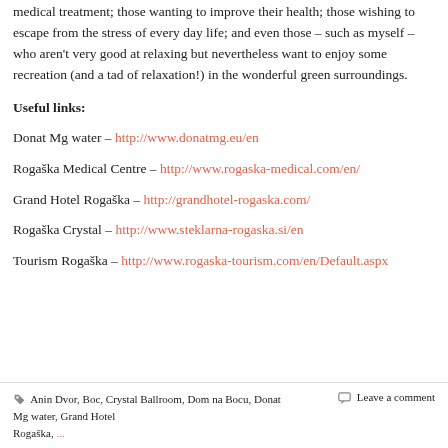medical treatment; those wanting to improve their health; those wishing to escape from the stress of every day life; and even those – such as myself – who aren't very good at relaxing but nevertheless want to enjoy some recreation (and a tad of relaxation!) in the wonderful green surroundings.
Useful links:
Donat Mg water – http://www.donatmg.eu/en
Rogaška Medical Centre – http://www.rogaska-medical.com/en/
Grand Hotel Rogaška – http://grandhotel-rogaska.com/
Rogaška Crystal – http://www.steklarna-rogaska.si/en
Tourism Rogaška – http://www.rogaska-tourism.com/en/Default.aspx
Anin Dvor, Boc, Crystal Ballroom, Dom na Bocu, Donat Mg water, Grand Hotel Rogaška, ... Leave a comment